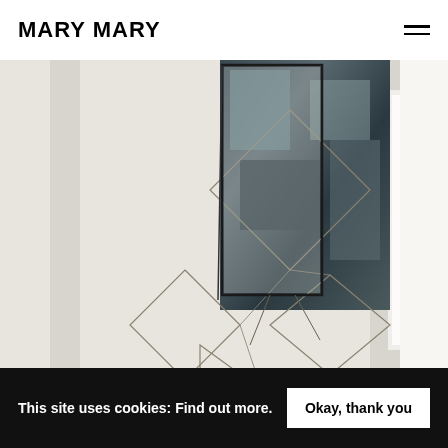MARY MARY
[Figure (photo): Gallery installation photo showing geometric wire/metal frame diamond shapes cascading down a white gallery wall, with a dark photographic print attached to the wall. A bright window is visible on the right side.]
This site uses cookies: Find out more.
Okay, thank you